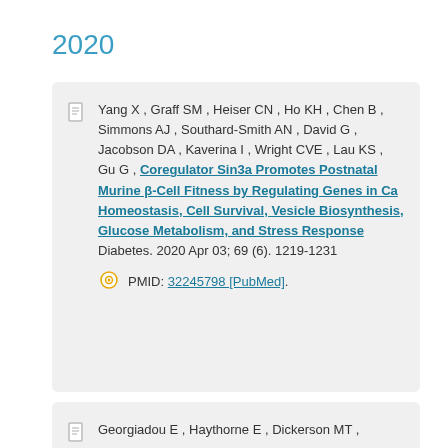2020
Yang X , Graff SM , Heiser CN , Ho KH , Chen B , Simmons AJ , Southard-Smith AN , David G , Jacobson DA , Kaverina I , Wright CVE , Lau KS , Gu G , Coregulator Sin3a Promotes Postnatal Murine β-Cell Fitness by Regulating Genes in Ca Homeostasis, Cell Survival, Vesicle Biosynthesis, Glucose Metabolism, and Stress Response Diabetes. 2020 Apr 03; 69 (6). 1219-1231
PMID: 32245798 [PubMed].
Georgiadou E , Haythorne E , Dickerson MT ,